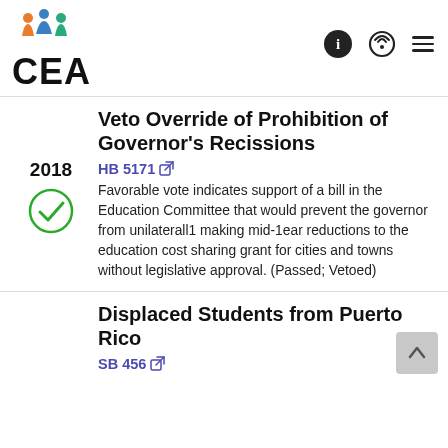[Figure (logo): CEA organization logo with colorful figure icon above 'CEA' text]
Veto Override of Prohibition of Governor's Recissions
HB 5171
Favorable vote indicates support of a bill in the Education Committee that would prevent the governor from unilaterall1 making mid-1ear reductions to the education cost sharing grant for cities and towns without legislative approval. (Passed; Vetoed)
Displaced Students from Puerto Rico
SB 456